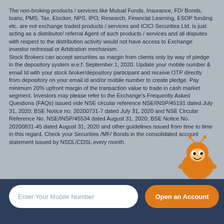The non-broking products / services like Mutual Funds, Insurance, FD/ Bonds, loans, PMS, Tax, Elocker, NPS, IPO, Research, Financial Learning, ESOP funding etc. are not exchange traded products / services and ICICI Securities Ltd. is just acting as a distributor/ referral Agent of such products / services and all disputes with respect to the distribution activity would not have access to Exchange investor redressal or Arbitration mechanism. Stock Brokers can accept securities as margin from clients only by way of pledge in the depository system w.e.f. September 1, 2020. Update your mobile number & email Id with your stock broker/depository participant and receive OTP directly from depository on your email id and/or mobile number to create pledge. Pay minimum 20% upfront margin of the transaction value to trade in cash market segment. Investors may please refer to the Exchange's Frequently Asked Questions (FAQs) issued vide NSE circular reference NSE/INSP/45191 dated July 31, 2020; BSE Notice no. 20200731-7 dated July 31, 2020 and NSE Circular Reference No. NSE/INSP/45534 dated August 31, 2020; BSE Notice No. 20200831-45 dated August 31, 2020 and other guidelines issued from time to time in this regard. Check your Securities /MF/ Bonds in the consolidated account statement issued by NSDL/CDSL every month.
[Figure (illustration): Orange cartoon ant mascot character sitting at bottom right of the text area]
Enter Your Mobile Number
Open an Account